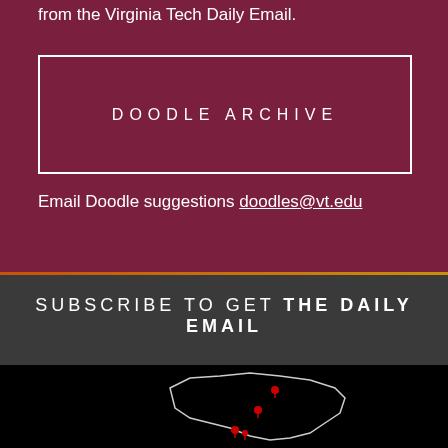from the Virginia Tech Daily Email.
DOODLE ARCHIVE
Email Doodle suggestions doodles@vt.edu
SUBSCRIBE TO GET THE DAILY EMAIL
[Figure (map): Outline map of Virginia with red location pins marking various Virginia Tech campus locations]